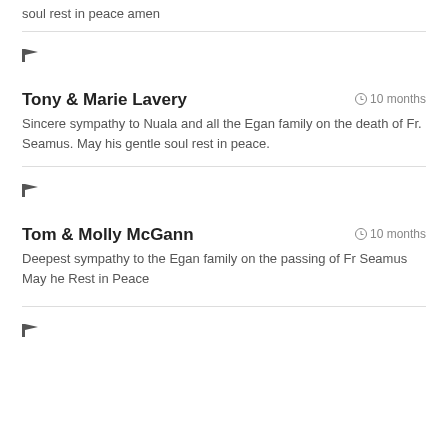soul rest in peace amen
🏴
Tony & Marie Lavery · 10 months
Sincere sympathy to Nuala and all the Egan family on the death of Fr. Seamus. May his gentle soul rest in peace.
🏴
Tom & Molly McGann · 10 months
Deepest sympathy to the Egan family on the passing of Fr Seamus May he Rest in Peace
🏴